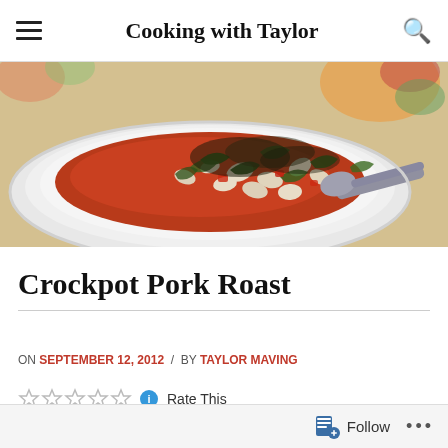Cooking with Taylor
[Figure (photo): A white bowl filled with a tomato-based bean and vegetable stew/soup, with a spoon visible, on a floral tablecloth background.]
Crockpot Pork Roast
ON SEPTEMBER 12, 2012 / BY TAYLOR MAVING
Rate This